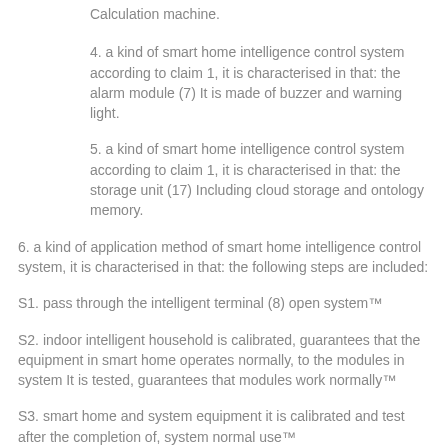Calculation machine.
4. a kind of smart home intelligence control system according to claim 1, it is characterised in that: the alarm module (7) It is made of buzzer and warning light.
5. a kind of smart home intelligence control system according to claim 1, it is characterised in that: the storage unit (17) Including cloud storage and ontology memory.
6. a kind of application method of smart home intelligence control system, it is characterised in that: the following steps are included:
S1. pass through the intelligent terminal (8) open system™
S2. indoor intelligent household is calibrated, guarantees that the equipment in smart home operates normally, to the modules in system It is tested, guarantees that modules work normally™
S3. smart home and system equipment it is calibrated and test after the completion of, system normal use™
S4. in Intelligent housing module (2) course of work, the data monitoring module (1) is to indoor temperature, humidity And the